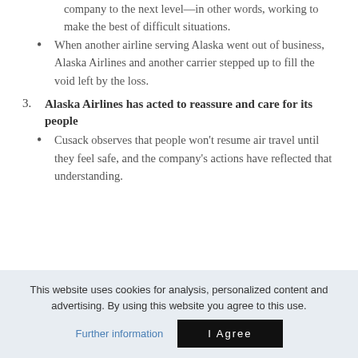company to the next level—in other words, working to make the best of difficult situations.
When another airline serving Alaska went out of business, Alaska Airlines and another carrier stepped up to fill the void left by the loss.
Alaska Airlines has acted to reassure and care for its people
Cusack observes that people won't resume air travel until they feel safe, and the company's actions have reflected that understanding.
This website uses cookies for analysis, personalized content and advertising. By using this website you agree to this use.
Further information
I Agree